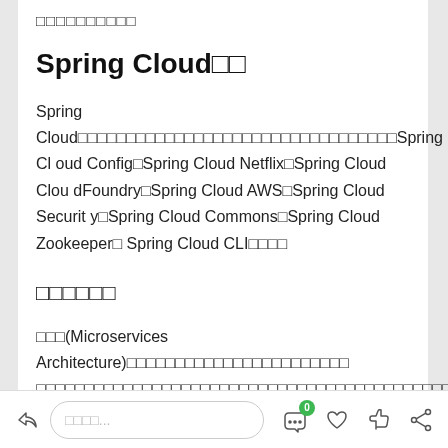□□□□□□□□□□
Spring Cloud□□
Spring Cloud□□□□□□□□□□□□□□□□□□□□□□□□□□□□□□□□□Spring Cloud Config□Spring Cloud Netflix□Spring Cloud CloudFoundry□Spring Cloud AWS□Spring Cloud Security□Spring Cloud Commons□Spring Cloud Zookeeper□Spring Cloud CLI□□□□
□□□□□□
□□□(Microservices Architecture)□□□□□□□□□□□□□□□□□□□□□□□□□□□□□□□□□□□□□□□□□□□□□□□□□□□□□□□□□□□□□□□□□□□□□□□□□□□□□□□